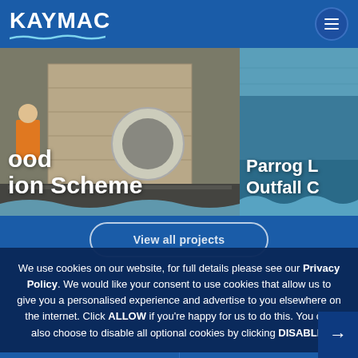KAYMAC
[Figure (photo): Construction site photo showing workers in orange hi-vis gear working near large concrete pipes and drainage infrastructure, with text overlay 'ood ion Scheme']
[Figure (photo): Water/river surface photo with text overlay 'Parrog L Outfall C']
View all projects
We use cookies on our website, for full details please see our Privacy Policy. We would like your consent to use cookies that allow us to give you a personalised experience and advertise to you elsewhere on the internet. Click ALLOW if you're happy for us to do this. You can also choose to disable all optional cookies by clicking DISABLE.
Allow
Disable